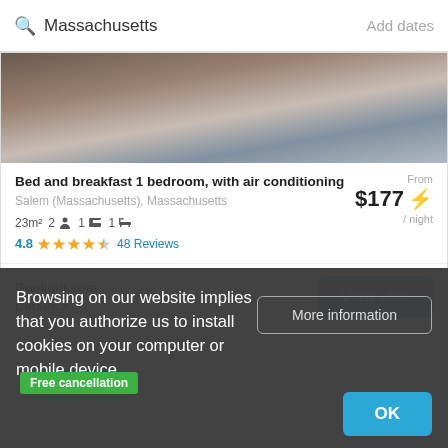Massachusetts   Add dates
[Figure (photo): Partial photo of a building exterior, blurred/cropped at top]
Bed and breakfast 1 bedroom, with air conditioning
Salem (Massachusetts), Massachusetts
23m²  2  1  1
From $177 ⚡
4.8 ★★★★½  48 Reviews
/ night
Booking.com
Details >
View offer
Free cancellation
Browsing on our website implies that you authorize us to install cookies on your computer or mobile device.
More information
OK